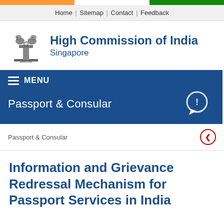Flag bar (India tricolor)
Home | Sitemap | Contact | Feedback
High Commission of India Singapore
MENU
Passport & Consular
Passport & Consular
Information and Grievance Redressal Mechanism for Passport Services in India